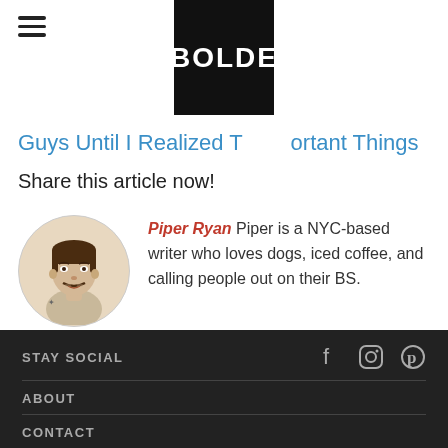BOLDE
Guys Until I Realized T...ortant Things
Share this article now!
[Figure (photo): Circular author avatar photo of Piper Ryan, a hand-drawn or illustrated portrait of a person with stylized features on a light beige background.]
Piper Ryan Piper is a NYC-based writer who loves dogs, iced coffee, and calling people out on their BS.
STAY SOCIAL  ABOUT  CONTACT